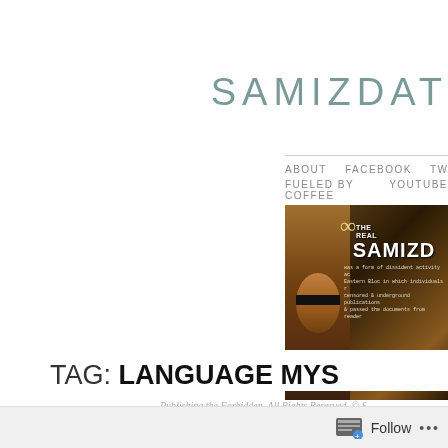SAMIZDAT
ABOUT   FACEBOOK   TWITTER   FUELED BY COFFEE   YOUTUBE
[Figure (illustration): Website banner image for Samizdat blog. Left side shows a face with a black bar over the eyes on a dark vintage background. Center/right shows an infinity symbol, 'THE REAL SAMIZDAT' title text, and typewriter-font description text about dissident activity in the Eastern Bloc.]
Publishing the Forbidden. All Rights Reserved. © S
TAG:  LANGUAGE MYS
Follow   ...